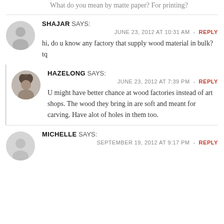What do you mean by matte paper? For printing?
SHAJAR SAYS:
JUNE 23, 2012 AT 10:31 AM - REPLY
hi, do u know any factory that supply wood material in bulk? tq
HAZELONG SAYS:
JUNE 23, 2012 AT 7:39 PM - REPLY
U might have better chance at wood factories instead of art shops. The wood they bring in are soft and meant for carving. Have alot of holes in them too.
MICHELLE SAYS:
SEPTEMBER 19, 2012 AT 9:17 PM - REPLY